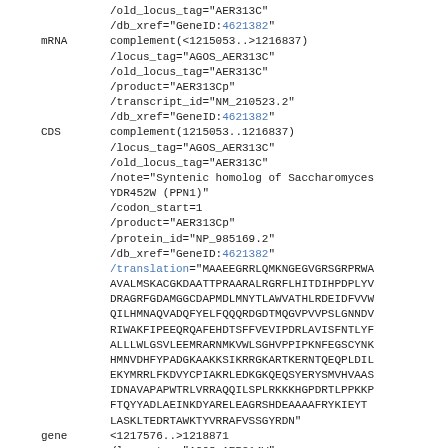/old_locus_tag="AER313C"
/db_xref="GeneID:4621382"
mRNA complement(<1215053..>1216837)
/locus_tag="AGOS_AER313C"
/old_locus_tag="AER313C"
/product="AER313Cp"
/transcript_id="NM_210523.2"
/db_xref="GeneID:4621382"
CDS complement(1215053..1216837)
/locus_tag="AGOS_AER313C"
/old_locus_tag="AER313C"
/note="Syntenic homolog of Saccharomyces YDR452W (PPN1)"
/codon_start=1
/product="AER313Cp"
/protein_id="NP_985169.2"
/db_xref="GeneID:4621382"
/translation="MAAEEGRRLQMKNGEGVGRSGRPRWA AVALMSKACGKDAATTPRAARALRGRFLHITDIHPDPLYV DRAGRFGDAMGGCDAPMDLMNYTLAWVATHLRDEIDFVVW QILHMNAQVADQFYELFQQQRDGDTMQGVPVVPSLGNNDV RIWAKFIPEEQRQAFEHDTSFFVEVIPDRLAVISFNTLYF ALLLWLGSVLEEMRARNMKVWLSGHVPPIPKNFEGSCYNK HMNVDHFYPADGKAAKKSIKRRGKARTKERNTQEQPLDIL EKYMRRLFKDVYCPIAKRLEDKGKQEQSYERYSMVHVAAS IDNAVAPAPWTRLVRRAQQILSPLRKKKHGPDRTLPPKKP FTQYYADLAEINKDYARELEAGRSHDEAAAAFRYKIEYT LASKLTEDRTAWKTYVRRAFVSSGYRDN"
gene <1217576..>1218871
/locus_tag="AGOS_AER314W"
/old_locus_tag="AER314W"
/db_xref="GeneID:4621383"
mRNA <1217576..>1218871